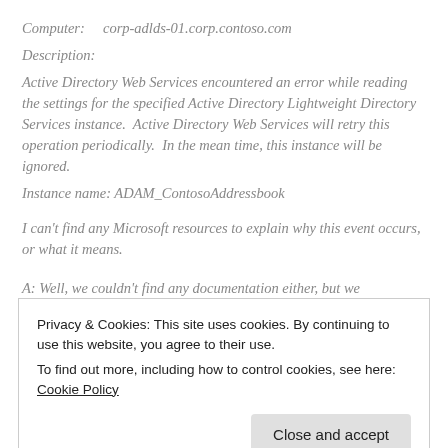Computer:    corp-adlds-01.corp.contoso.com
Description:
Active Directory Web Services encountered an error while reading the settings for the specified Active Directory Lightweight Directory Services instance.  Active Directory Web Services will retry this operation periodically.  In the mean time, this instance will be ignored.
Instance name: ADAM_ContosoAddressbook
I can't find any Microsoft resources to explain why this event occurs, or what it means.
A: Well, we couldn't find any documentation either, but we
Privacy & Cookies: This site uses cookies. By continuing to use this website, you agree to their use.
To find out more, including how to control cookies, see here: Cookie Policy
warning events started getting logged.